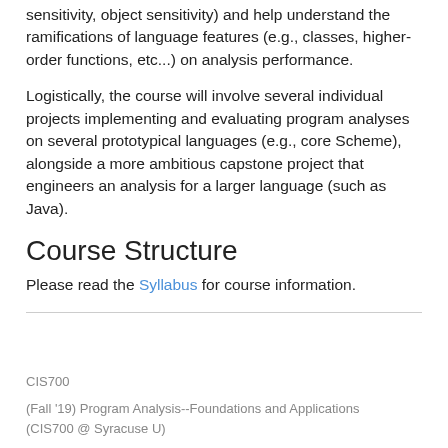sensitivity, object sensitivity) and help understand the ramifications of language features (e.g., classes, higher-order functions, etc...) on analysis performance.
Logistically, the course will involve several individual projects implementing and evaluating program analyses on several prototypical languages (e.g., core Scheme), alongside a more ambitious capstone project that engineers an analysis for a larger language (such as Java).
Course Structure
Please read the Syllabus for course information.
CIS700
(Fall '19) Program Analysis--Foundations and Applications (CIS700 @ Syracuse U)